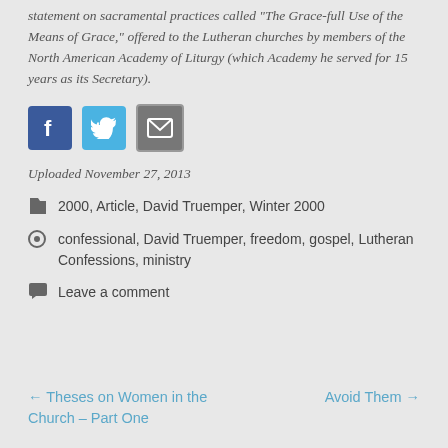statement on sacramental practices called “The Grace-full Use of the Means of Grace,” offered to the Lutheran churches by members of the North American Academy of Liturgy (which Academy he served for 15 years as its Secretary).
[Figure (other): Social media sharing icons: Facebook (blue), Twitter (light blue), Email (gray)]
Uploaded November 27, 2013
2000, Article, David Truemper, Winter 2000
confessional, David Truemper, freedom, gospel, Lutheran Confessions, ministry
Leave a comment
← Theses on Women in the Church – Part One
Avoid Them →